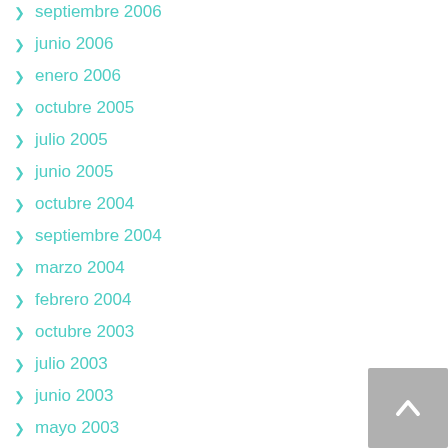septiembre 2006
junio 2006
enero 2006
octubre 2005
julio 2005
junio 2005
octubre 2004
septiembre 2004
marzo 2004
febrero 2004
octubre 2003
julio 2003
junio 2003
mayo 2003